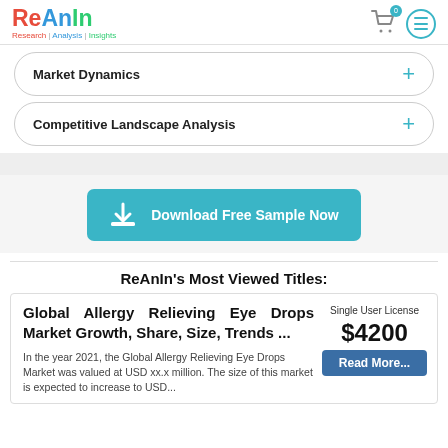ReAnIn - Research | Analysis | Insights
Market Dynamics
Competitive Landscape Analysis
Download Free Sample Now
ReAnIn's Most Viewed Titles:
Global Allergy Relieving Eye Drops Market Growth, Share, Size, Trends ...
Single User License
$4200
In the year 2021, the Global Allergy Relieving Eye Drops Market was valued at USD xx.x million. The size of this market is expected to increase to USD...
Read More...